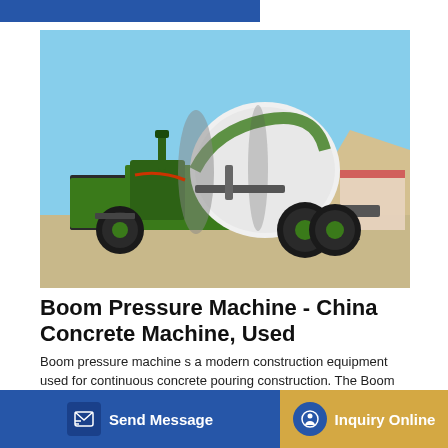[Figure (photo): Green self-loading concrete mixer truck parked on sandy ground with blue sky background and industrial buildings in the background]
Boom Pressure Machine - China Concrete Machine, Used
Boom pressure machine s a modern construction equipment used for continuous concrete pouring construction. The Boom pressure machine is widely used in large-scale infrastructure buildings ter trea structures: 1) Pumping
Send Message   Inquiry Online